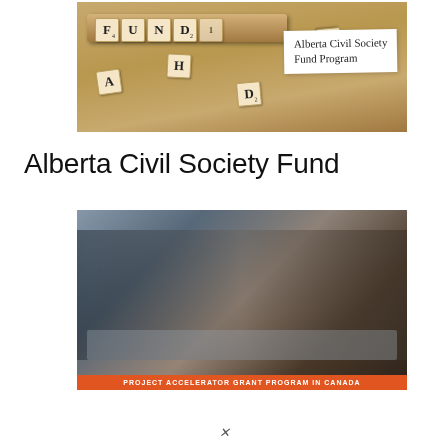[Figure (photo): Photo of Scrabble tiles spelling FUND on a wooden surface, with a white paper note reading 'Alberta Civil Society Fund Program']
Alberta Civil Society Fund
[Figure (photo): Photo of a business meeting around a table with diverse professionals, with an orange banner at the bottom reading 'PROJECT ACCELERATOR GRANT PROGRAM IN CANADA']